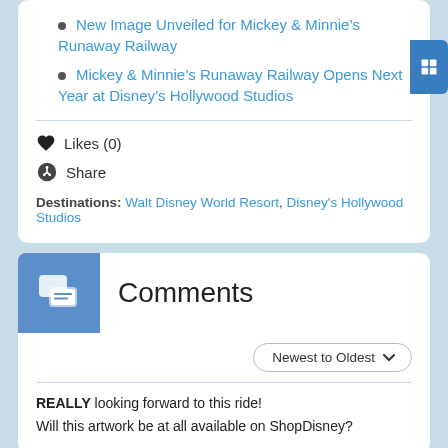New Image Unveiled for Mickey & Minnie's Runaway Railway
Mickey & Minnie's Runaway Railway Opens Next Year at Disney's Hollywood Studios
Likes (0)
Share
Destinations: Walt Disney World Resort, Disney's Hollywood Studios
Comments
Newest to Oldest
REALLY looking forward to this ride!
Will this artwork be at all available on ShopDisney?